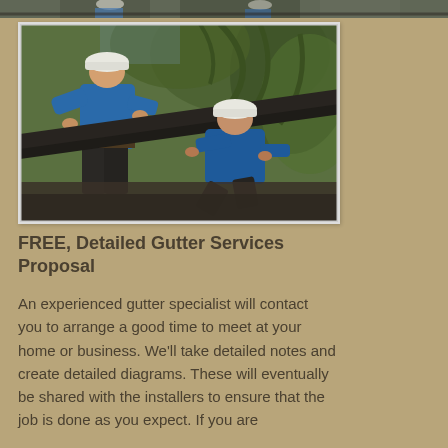[Figure (photo): Partial view of workers on a roof — top strip of a larger photo showing workers installing gutters]
[Figure (photo): Two workers wearing white hard hats and blue shirts installing dark gutters on a roof, with palm trees in the background. One worker is standing and bending over the gutter material, the other is kneeling and working on it.]
FREE, Detailed Gutter Services Proposal
An experienced gutter specialist will contact you to arrange a good time to meet at your home or business. We'll take detailed notes and create detailed diagrams. These will eventually be shared with the installers to ensure that the job is done as you expect. If you are